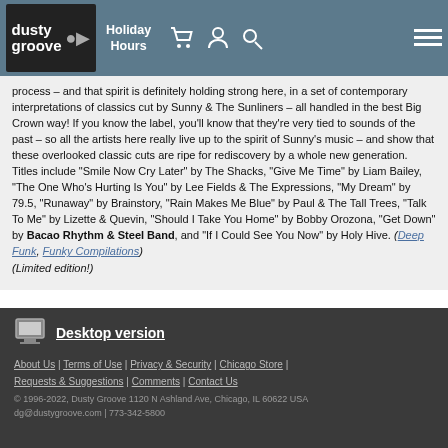dusty groove | Holiday Hours
process – and that spirit is definitely holding strong here, in a set of contemporary interpretations of classics cut by Sunny & The Sunliners – all handled in the best Big Crown way! If you know the label, you'll know that they're very tied to sounds of the past – so all the artists here really live up to the spirit of Sunny's music – and show that these overlooked classic cuts are ripe for rediscovery by a whole new generation. Titles include "Smile Now Cry Later" by The Shacks, "Give Me Time" by Liam Bailey, "The One Who's Hurting Is You" by Lee Fields & The Expressions, "My Dream" by 79.5, "Runaway" by Brainstory, "Rain Makes Me Blue" by Paul & The Tall Trees, "Talk To Me" by Lizette & Quevin, "Should I Take You Home" by Bobby Orozona, "Get Down" by Bacao Rhythm & Steel Band, and "If I Could See You Now" by Holy Hive. (Deep Funk, Funky Compilations) (Limited edition!)
Desktop version | About Us | Terms of Use | Privacy & Security | Chicago Store | Requests & Suggestions | Comments | Contact Us | © 1996-2022, Dusty Groove 1120 N Ashland Ave, Chicago, IL 60622 USA | dg@dustygroove.com | 773-342-5800